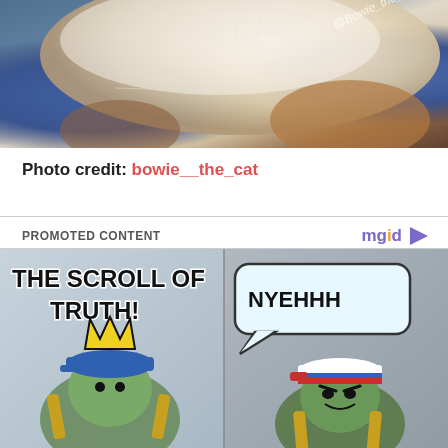[Figure (photo): Close-up photo of a white and orange cat lying against a blue fabric/blanket background. A watermark reads '@Bowie_the_cat' in the top-right area of the image.]
Photo credit: bowie__the_cat
PROMOTED CONTENT
[Figure (illustration): Cartoon/meme comic panel showing two illustrated characters. The left panel text reads 'THE SCROLL OF TRUTH!' and the right panel shows a speech bubble saying 'NYEHHH'. The characters appear to be animated frog-like figures wearing caps.]